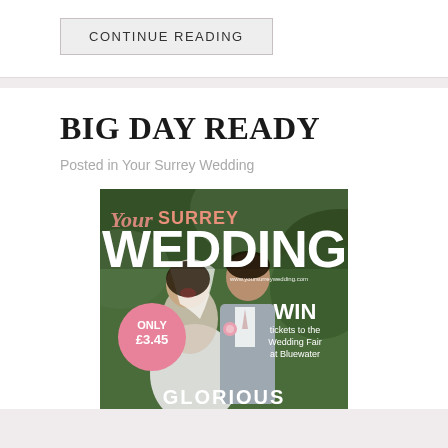CONTINUE READING
BIG DAY READY
Posted in Your Surrey Wedding
[Figure (photo): Magazine cover of 'Your Surrey Wedding' showing a smiling couple (bride and groom) in an outdoor setting with greenery. The cover features text: 'Your SURREY WEDDING', 'www.yoursurreywedding.com', 'ONLY £3.45' in a pink circle, 'WIN tickets to the Wedding Fair at Bluewater', and 'GLORIOUS' partially visible at the bottom.]